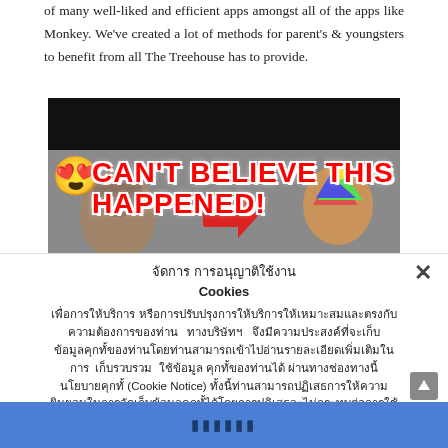of many well-liked and efficient apps amongst all of the apps like Monkey. We've created a lot of methods for parent's & youngsters to benefit from all The Treehouse has to provide.
[Figure (screenshot): Screenshot of a video thumbnail with black bar at top, faces visible at bottom, and red bold text 'CAN'T BELIEVE THIS HAPPENED!' with a heart-eyes emoji on the left]
จัดการ การอนุญาติใช้งาน Cookies เพื่อการให้บริการ หรือการปรับปรุงการให้บริการให้เหมาะสมและตรงกับความต้องการของท่าน ทางบริษัทฯ จึงมีความประสงค์ที่จะเก็บข้อมูลคุกทั้ของท่านโดยท่านสามารถเข้าไปอ่านรายละเอียดเพิ่มเติมในการ เก็บรวบรวม ใช้ข้อมูล คุกทั้ของท่านได้ ผ่านทางช่องทางนี้ นโยบายคุกทั้ (Cookie Notice) ทั้งนี้ท่านสามารถปฏิเสธการให้ความยินยอมในการจัดเก็บข้อมูลคุกทั้ได้โดยการปฏิเสธจะไม่กระทบต่อการใช้บริการของ บริษัทฯ